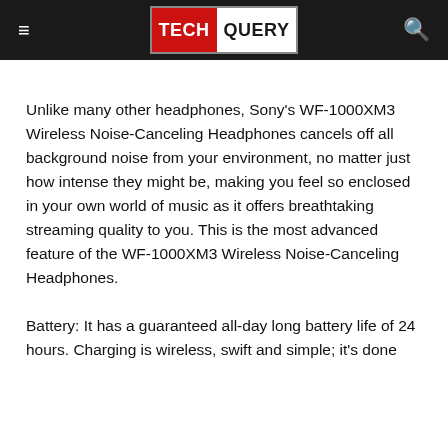TECHQUERY
Unlike many other headphones, Sony's WF-1000XM3 Wireless Noise-Canceling Headphones cancels off all background noise from your environment, no matter just how intense they might be, making you feel so enclosed in your own world of music as it offers breathtaking streaming quality to you. This is the most advanced feature of the WF-1000XM3 Wireless Noise-Canceling Headphones.
Battery: It has a guaranteed all-day long battery life of 24 hours. Charging is wireless, swift and simple; it's done